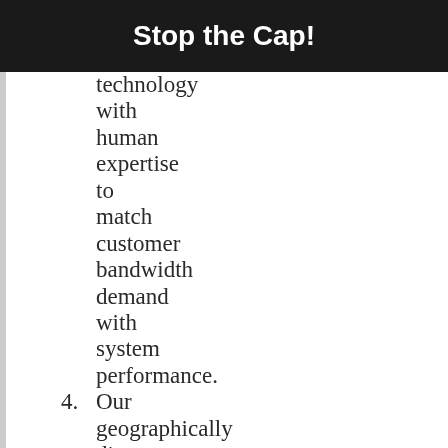Stop the Cap!
technology with human expertise to match customer bandwidth demand with system performance.
4. Our geographically diverse workforce is able to